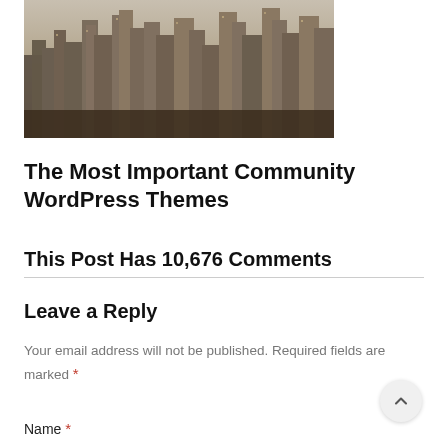[Figure (photo): Aerial/elevated view of a dense urban cityscape with tall skyscrapers and buildings, sepia/muted tones, New York City style skyline]
The Most Important Community WordPress Themes
This Post Has 10,676 Comments
Leave a Reply
Your email address will not be published. Required fields are marked *
Name *